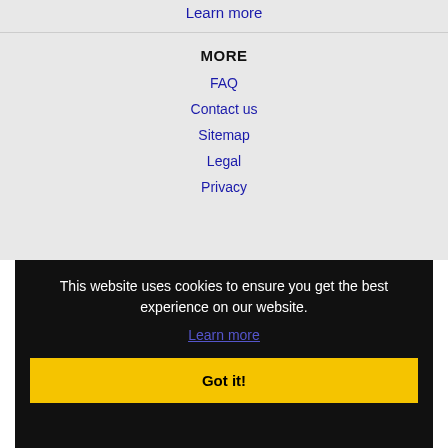Learn more
MORE
FAQ
Contact us
Sitemap
Legal
Privacy
This website uses cookies to ensure you get the best experience on our website.
Learn more
Got it!
Dallas, TX Jobs